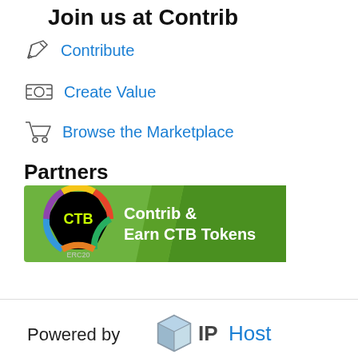Join us at Contrib
Contribute
Create Value
Browse the Marketplace
Partners
[Figure (logo): CTB token banner: black hexagon with CTB label, colorful ring, green banner reading 'Contrib & Earn CTB Tokens', ERC20 label]
[Figure (logo): Powered by IPHost logo with cube icon, IP in dark gray, Host in blue]